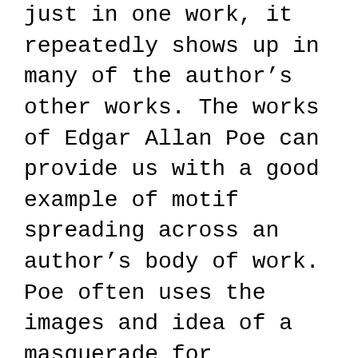just in one work, it repeatedly shows up in many of the author's other works. The works of Edgar Allan Poe can provide us with a good example of motif spreading across an author's body of work. Poe often uses the images and idea of a masquerade for trickery, uncertainty, and death. He uses the masquerade in his short story, “The Cask of Amontillado,” to lead a character to his death. The masquerade in “William WIlson” leads to an attempted murder. “The Masque of the Red Death,” uses the masquerade to lead guests to their deaths. The concrete gathering constituted by